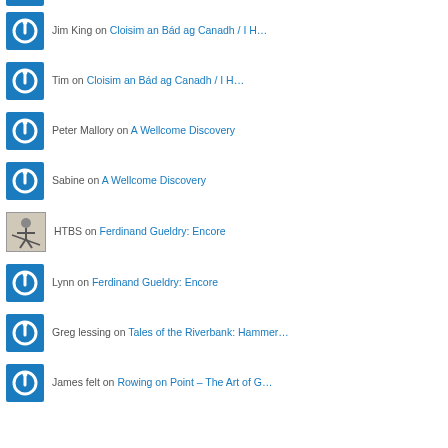Jim King on Cloisim an Bád ag Canadh / I H…
Tim on Cloisim an Bád ag Canadh / I H…
Peter Mallory on A Wellcome Discovery
Sabine on A Wellcome Discovery
HTBS on Ferdinand Gueldry: Encore
Lynn on Ferdinand Gueldry: Encore
Greg lessing on Tales of the Riverbank: Hammer…
James felt on Rowing on Point – The Art of G…